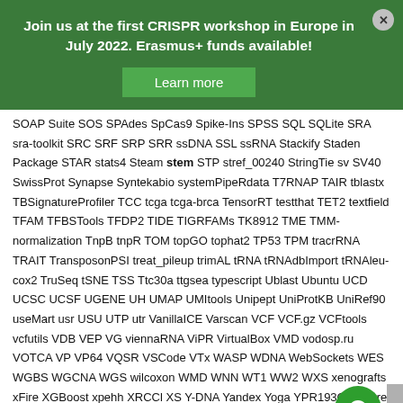Join us at the first CRISPR workshop in Europe in July 2022. Erasmus+ funds available!
Learn more
SOAP Suite SOS SPAdes SpCas9 Spike-Ins SPSS SQL SQLite SRA sra-toolkit SRC SRF SRP SRR ssDNA SSL ssRNA Stackify Staden Package STAR stats4 Steam stem STP stref_00240 StringTie sv SV40 SwissProt Synapse Syntekabio systemPipeRdata T7RNAP TAIR tblastx TBSignatureProfiler TCC tcga tcga-brca TensorRT testthat TET2 textfield TFAM TFBSTools TFDP2 TIDE TIGRFAMs TK8912 TME TMM-normalization TnpB tnpR TOM topGO tophat2 TP53 TPM tracrRNA TRAIT TransposonPSI treat_pileup trimAL tRNA tRNAdbImport tRNAleu-cox2 TruSeq tSNE TSS Ttc30a ttgsea typescript Ublast Ubuntu UCD UCSC UCSF UGENE UH UMAP UMItools Unipept UniProtKB UniRef90 useMart usr USU UTP utr VanillaICE Varscan VCF VCF.gz VCFtools vcfutils VDB VEP VG viennaRNA ViPR VirtualBox VMD vodosp.ru VOTCA VP VP64 VQSR VSCode VTx WASP WDNA WebSockets WES WGBS WGCNA WGS wilcoxon WMD WNN WT1 WW2 WXS xenografts xFire XGBoost xpehh XRCCl XS Y-DNA Yandex Yoga YPR193C z-score Zenodo zsh ZyCoV-D zygotes Zymo ~jobs